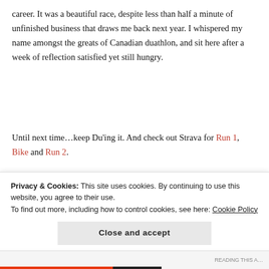career. It was a beautiful race, despite less than half a minute of unfinished business that draws me back next year. I whispered my name amongst the greats of Canadian duathlon, and sit here after a week of reflection satisfied yet still hungry.
Until next time…keep Du'ing it. And check out Strava for Run 1, Bike and Run 2.
| 1 | Benoit Simard | 1:53:25 | 2008 | 17 | Jean-francois Fillion | 1:58:29 | 2009 |
|  | Benoit Simard | 1:53:38 | 2012 | 18 | Frederic Rainville | 1:58:31 | 2015 |
| 2 | Jesse Bauer | 1:53:48 | 2018 | 19 | Dany Malley | 1:58:57 | 2017 |
Privacy & Cookies: This site uses cookies. By continuing to use this website, you agree to their use.
To find out more, including how to control cookies, see here: Cookie Policy
Close and accept